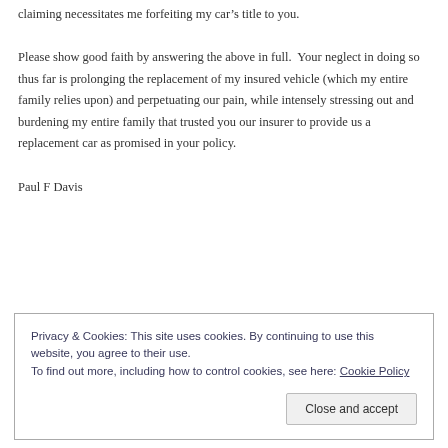claiming necessitates me forfeiting my car’s title to you.
Please show good faith by answering the above in full.  Your neglect in doing so thus far is prolonging the replacement of my insured vehicle (which my entire family relies upon) and perpetuating our pain, while intensely stressing out and burdening my entire family that trusted you our insurer to provide us a replacement car as promised in your policy.
Paul F Davis
Privacy & Cookies: This site uses cookies. By continuing to use this website, you agree to their use.
To find out more, including how to control cookies, see here: Cookie Policy